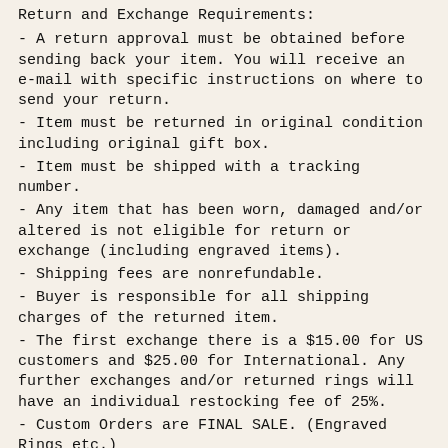Return and Exchange Requirements:
- A return approval must be obtained before sending back your item. You will receive an e-mail with specific instructions on where to send your return.
- Item must be returned in original condition including original gift box.
- Item must be shipped with a tracking number.
- Any item that has been worn, damaged and/or altered is not eligible for return or exchange (including engraved items).
- Shipping fees are nonrefundable.
- Buyer is responsible for all shipping charges of the returned item.
- The first exchange there is a $15.00 for US customers and $25.00 for International. Any further exchanges and/or returned rings will have an individual restocking fee of 25%.
- Custom Orders are FINAL SALE. (Engraved Rings etc.)
Restocking Fees For Returns:
- If you purchased an item and cancel or return the order, there will